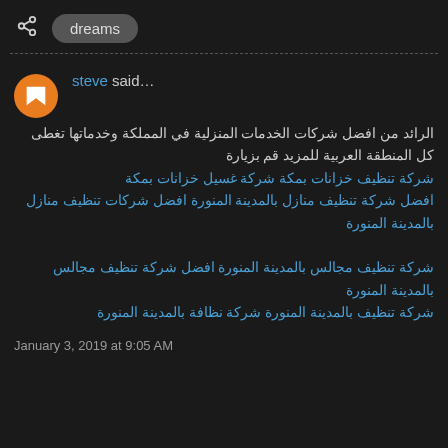dreams
steve said...
الرائد من افضل شركات الخدمات المنزلية في المملكة وخدماتها تغطى كل المنطقة العربية للمزيد قم بزيارة شركة تنظيف خزانات بمكة شركة غسيل خزانات بمكة افضل شركة تنظيف منازل بالمدينة المنورة افضل شركات تنظيف منازل بالمدينة المنورة شركة تنظيف مجالس بالمدينة المنورة افضل شركة تنظيف مجالس بالمدينة المنورة شركة تنظيف بالمدينة المنورة شركة نظافة بالمدينة المنورة
January 3, 2019 at 9:05 AM